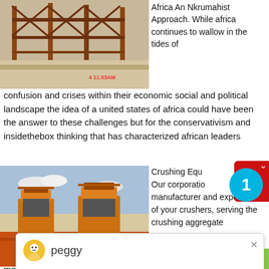[Figure (photo): Industrial construction site with metal structures and scaffolding, timestamp 4:11:03AM visible in red]
Africa An Nkrumahist Approach. While africa continues to wallow in the tides of confusion and crises within their economic social and political landscape the idea of a united states of africa could have been the answer to these challenges but for the conservativism and insidethebox thinking that has characterized african leaders
[Figure (screenshot): Chat popup with avatar labeled 'peggy' and message: Welcome, please choose: 1.English 2.Русский 3.Français 4.Español 5.bahasa Indonesia 6.عربى]
[Figure (photo): Crushing equipment machines (orange/yellow) on a red dirt construction site]
Crushing Equ... Our corporatio... manufacturer and exporter of your crushers, serving the crushing aggregate market for 20 years. Stone Crushers is definitely an perfect choice for serious and compre...